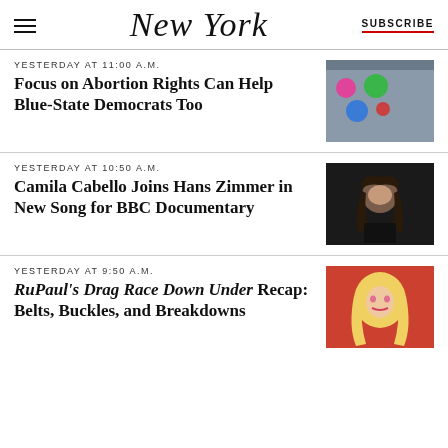NEW YORK | SUBSCRIBE
YESTERDAY AT 11:00 A.M.
Focus on Abortion Rights Can Help Blue-State Democrats Too
[Figure (photo): Close-up of a denim jacket with political buttons including pink, green, and blue abortion/vote-themed pins]
YESTERDAY AT 10:50 A.M.
Camila Cabello Joins Hans Zimmer in New Song for BBC Documentary
[Figure (photo): Portrait photo of Camila Cabello in a black outfit against a dark background]
YESTERDAY AT 9:50 A.M.
RuPaul's Drag Race Down Under Recap: Belts, Buckles, and Breakdowns
[Figure (photo): Drag performer with blonde hair and dramatic makeup against an orange-red background]